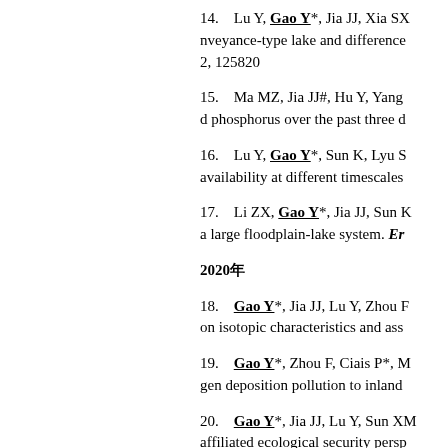14.   Lu Y, Gao Y*, Jia JJ, Xia SX... nveyance-type lake and difference... 2, 125820
15.   Ma MZ, Jia JJ#, Hu Y, Yang... d phosphorus over the past three d...
16.   Lu Y, Gao Y*, Sun K, Lyu S... availability at different timescales...
17.   Li ZX, Gao Y*, Jia JJ, Sun K... a large floodplain-lake system. Er...
2020年
18.   Gao Y*, Jia JJ, Lu Y, Zhou F... on isotopic characteristics and ass...
19.   Gao Y*, Zhou F, Ciais P*, M... gen deposition pollution to inland...
20.   Gao Y*, Jia JJ, Lu Y, Sun XM... affiliated ecological security persp...
21.   Gao Y*, Yu G*. Regional co... es, 2020, 63(9), 1227-1236
22.   Lu Y, Gao Y*, Yang TT. A re...